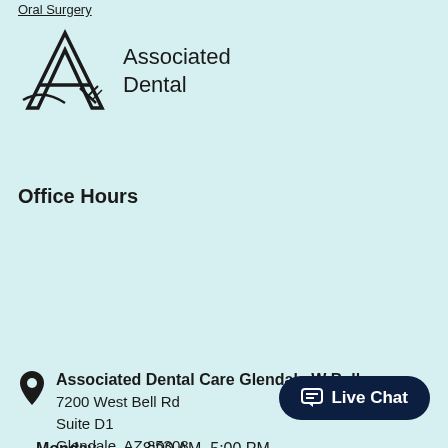Oral Surgery
[Figure (logo): Associated Dental logo with stylized letter A and text 'Associated Dental']
Office Hours
| Day | Hours |
| --- | --- |
| Monday | 8:00 AM–5:00 PM |
| Tuesday | 10:00 AM–7:00 PM |
| Wednesday | 8:00 AM–5:00 PM |
| Thursday | 8:00 AM–5:00 PM |
| Friday | Closed |
Associated Dental Care Glendale W Bell
7200 West Bell Rd
Suite D1
Glendale, AZ 85308
Live Chat